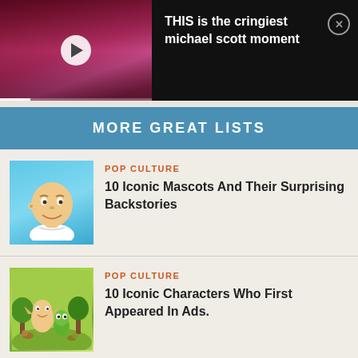[Figure (screenshot): Video thumbnail with play button showing a dark background with pink/purple tones]
THIS is the cringiest michael scott moment
MORE GREAT LISTS
[Figure (illustration): Mr. Clean illustration on light blue background]
POP CULTURE
10 Iconic Mascots And Their Surprising Backstories
[Figure (illustration): Cartoon animated characters in a green outdoor scene]
POP CULTURE
10 Iconic Characters Who First Appeared In Ads.